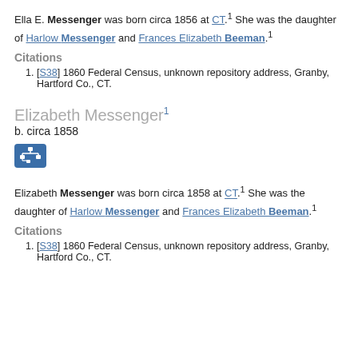Ella E. Messenger was born circa 1856 at CT.1 She was the daughter of Harlow Messenger and Frances Elizabeth Beeman.1
Citations
[S38] 1860 Federal Census, unknown repository address, Granby, Hartford Co., CT.
Elizabeth Messenger1
b. circa 1858
[Figure (other): Tree/family chart icon button]
Elizabeth Messenger was born circa 1858 at CT.1 She was the daughter of Harlow Messenger and Frances Elizabeth Beeman.1
Citations
[S38] 1860 Federal Census, unknown repository address, Granby, Hartford Co., CT.